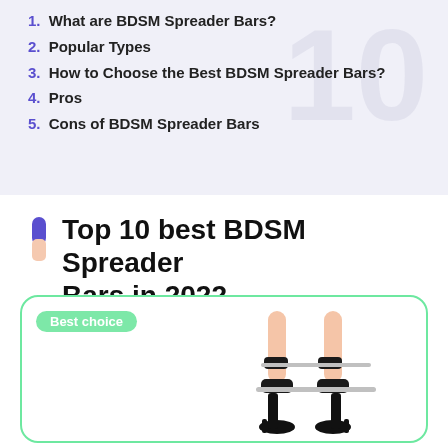1. What are BDSM Spreader Bars?
2. Popular Types
3. How to Choose the Best BDSM Spreader Bars?
4. Pros
5. Cons of BDSM Spreader Bars
Top 10 best BDSM Spreader Bars in 2022
[Figure (photo): Product card with Best choice badge showing legs with spreader bar and ankle restraints]